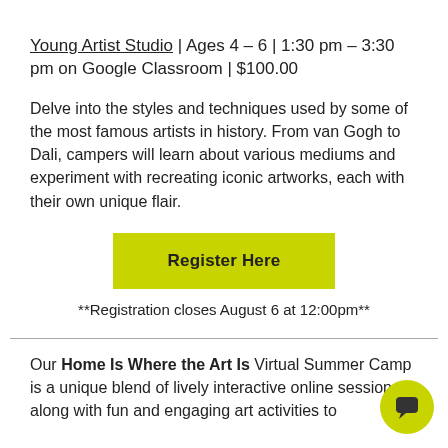Young Artist Studio | Ages 4 – 6 | 1:30 pm – 3:30 pm on Google Classroom | $100.00
Delve into the styles and techniques used by some of the most famous artists in history. From van Gogh to Dali, campers will learn about various mediums and experiment with recreating iconic artworks, each with their own unique flair.
Register Here
**Registration closes August 6 at 12:00pm**
Our Home Is Where the Art Is Virtual Summer Camp is a unique blend of lively interactive online sessions along with fun and engaging art activities to